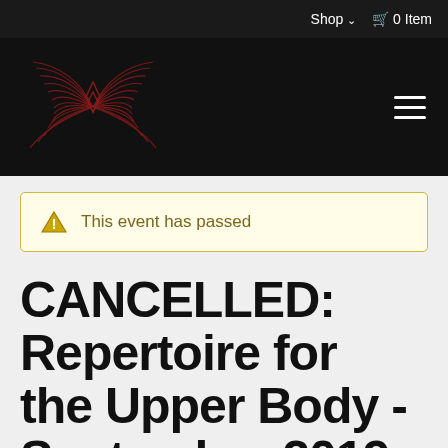Shop ∨  🛒 0 Item
[Figure (logo): Red geometric wing/butterfly logo made of curved lines on black background]
This event has passed
CANCELLED: Repertoire for the Upper Body - September 2019